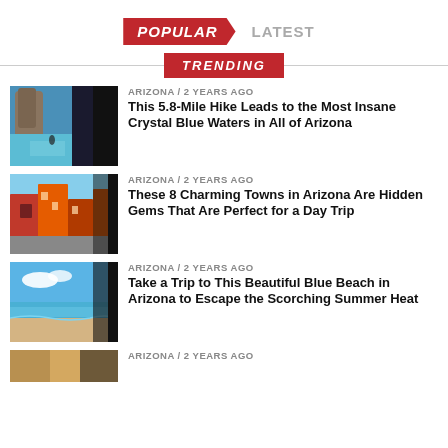POPULAR / LATEST
TRENDING
[Figure (photo): Canyon with turquoise blue water and rock formations]
ARIZONA / 2 years ago
This 5.8-Mile Hike Leads to the Most Insane Crystal Blue Waters in All of Arizona
[Figure (photo): Colorful brick buildings in a charming town]
ARIZONA / 2 years ago
These 8 Charming Towns in Arizona Are Hidden Gems That Are Perfect for a Day Trip
[Figure (photo): Blue beach with calm water under blue sky]
ARIZONA / 2 years ago
Take a Trip to This Beautiful Blue Beach in Arizona to Escape the Scorching Summer Heat
[Figure (photo): Partial view of fourth article image]
ARIZONA / 2 years ago